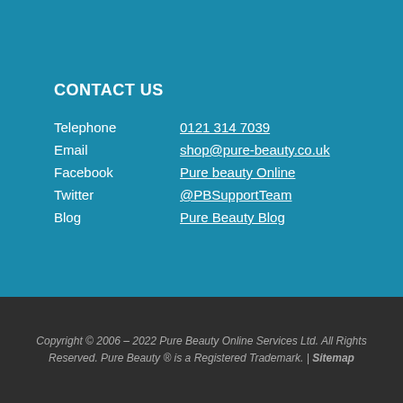CONTACT US
Telephone  0121 314 7039
Email  shop@pure-beauty.co.uk
Facebook  Pure beauty Online
Twitter  @PBSupportTeam
Blog  Pure Beauty Blog
Copyright © 2006 - 2022 Pure Beauty Online Services Ltd. All Rights Reserved. Pure Beauty ® is a Registered Trademark. | Sitemap